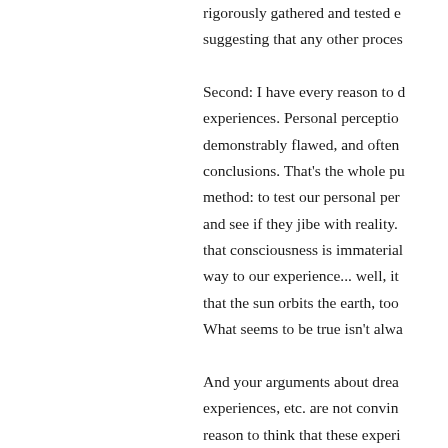rigorously gathered and tested e suggesting that any other proces Second: I have every reason to d experiences. Personal perceptio demonstrably flawed, and often conclusions. That's the whole pu method: to test our personal per and see if they jibe with reality. that consciousness is immaterial way to our experience... well, it that the sun orbits the earth, too What seems to be true isn't alwa And your arguments about drea experiences, etc. are not convin reason to think that these experi of the way our brains function.